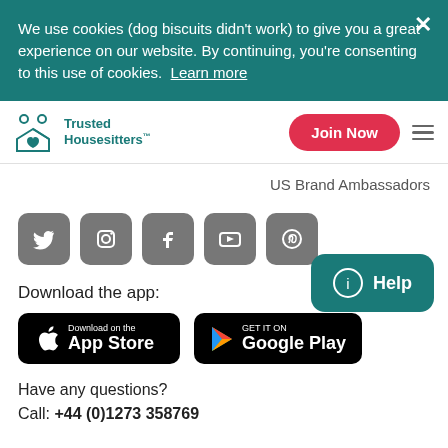We use cookies (dog biscuits didn't work) to give you a great experience on our website. By continuing, you're consenting to this use of cookies. Learn more
[Figure (logo): Trusted Housesitters logo with icon]
Join Now
US Brand Ambassadors
[Figure (infographic): Social media icons row: Twitter, Instagram, Facebook, YouTube, Pinterest]
Download the app:
[Figure (infographic): Download on the App Store button]
[Figure (infographic): GET IT ON Google Play button]
[Figure (infographic): Help button (teal rounded rectangle with i icon)]
Have any questions?
Call: +44 (0)1273 358769